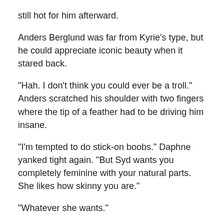still hot for him afterward.
Anders Berglund was far from Kyrie's type, but he could appreciate iconic beauty when it stared back.
“Hah. I don’t think you could ever be a troll.” Anders scratched his shoulder with two fingers where the tip of a feather had to be driving him insane.
“I’m tempted to do stick-on boobs.” Daphne yanked tight again. “But Syd wants you completely feminine with your natural parts. She likes how skinny you are.”
“Whatever she wants.”
“Yeah, I’ll stitch this up a bit tighter.” She unzipped the back of the dress and slid it down. Anders stepped out and stood in black stockings held up by a garter with matching